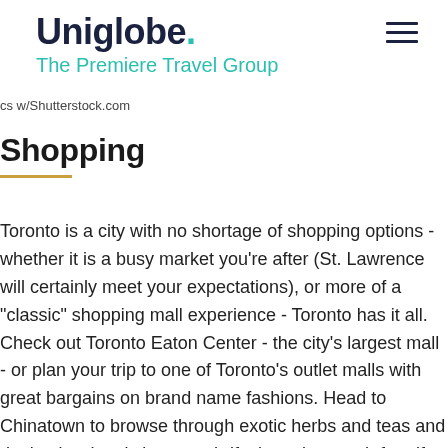Uniglobe. The Premiere Travel Group
cs w/Shutterstock.com
Shopping
Toronto is a city with no shortage of shopping options - whether it is a busy market you're after (St. Lawrence will certainly meet your expectations), or more of a "classic" shopping mall experience - Toronto has it all. Check out Toronto Eaton Center - the city's largest mall - or plan your trip to one of Toronto's outlet malls with great bargains on brand name fashions. Head to Chinatown to browse through exotic herbs and teas and don't miss the city's many thrift shops in search for gifts to bring your loved ones.